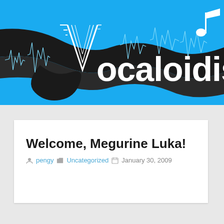[Figure (logo): Vocaloidism website header banner with blue background, black ribbon/tape graphic, sound waveforms, musical note, and white text reading 'Vocaloidism']
Welcome, Megurine Luka!
pengy  Uncategorized  January 30, 2009